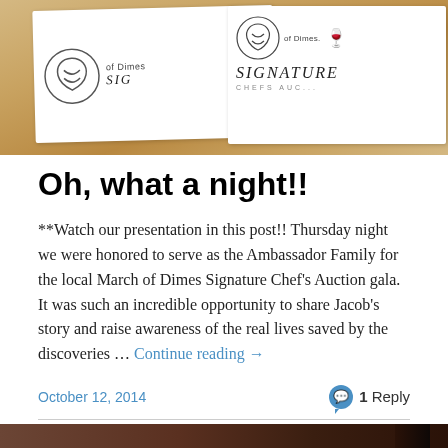[Figure (photo): March of Dimes Signature Chef's Auction event cards/invitations on a wooden table background. Two white cards with the March of Dimes logo and 'SIGNATURE' text, with a purple card behind them.]
Oh, what a night!!
**Watch our presentation in this post!! Thursday night we were honored to serve as the Ambassador Family for the local March of Dimes Signature Chef's Auction gala.  It was such an incredible opportunity to share Jacob's story and raise awareness of the real lives saved by the discoveries … Continue reading →
October 12, 2014
1 Reply
[Figure (photo): Bottom portion of a photo showing a dark brown background, partially visible.]